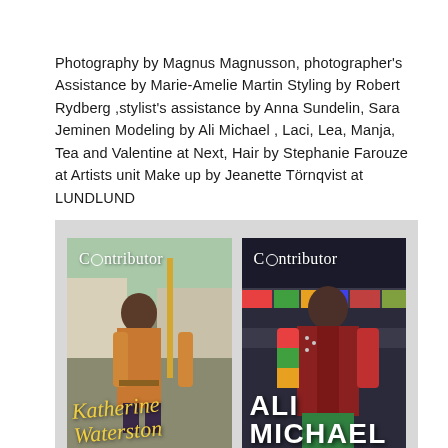Photography by Magnus Magnusson, photographer's Assistance by Marie-Amelie Martin Styling by Robert Rydberg ,stylist's assistance by Anna Sundelin, Sara Jeminen Modeling by Ali Michael , Laci, Lea, Manja, Tea and Valentine at Next, Hair by Stephanie Farouze at Artists unit Make up by Jeanette Törnqvist at LUNDLUND
[Figure (photo): Two Contributor magazine covers side by side on a grey background. Left cover shows a woman in an orange outfit with yellow handwritten text 'Katherine Waterston'. Right cover shows a model in a red jacket with bold white text 'ALI MICHAEL'. Both covers have the 'Contributor' logo at the top.]